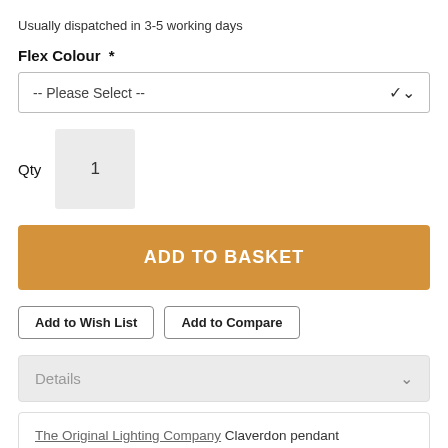Usually dispatched in 3-5 working days
Flex Colour  *
-- Please Select --
Qty  1
ADD TO BASKET
Add to Wish List
Add to Compare
Details
The Original Lighting Company Claverdon pendant CLAVERDON2BZ is an industrial inspired retro pendant. You can create your own unique pendant with a